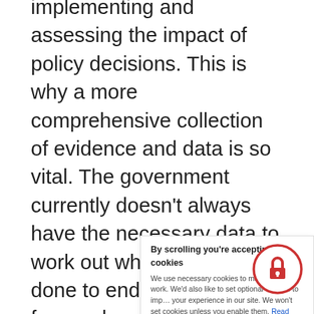implementing and assessing the impact of policy decisions. This is why a more comprehensive collection of evidence and data is so vital. The government currently doesn't always have the necessary data to work out what needs to be done to end homelessness for good, and without first collecting that data it's impossible to propose or implement a coherent strategy to address the situation. If we have the right evidence then it will soon become clear what the direction of travel needs to be and what action the government needs to take in the coming months and years to end homelessness for good.
By scrolling you're accepting cookies
We use necessary cookies to make our site work. We'd also like to set optional cookies to improve your experience in our site. We won't set cookies unless you enable them. Read more our cookie policy
Can we store cookies?
Within the APPG we will continue to make the case for the government to take bold action across all departments to prevent and end homelessness in